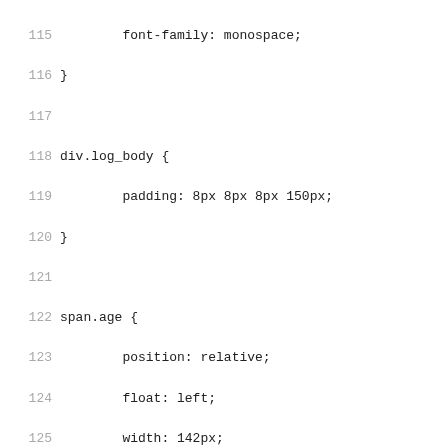Code listing showing CSS rules for div.log_body, span.age, span.signoff, div.log_link, and div.list_head selectors, lines 115-147.